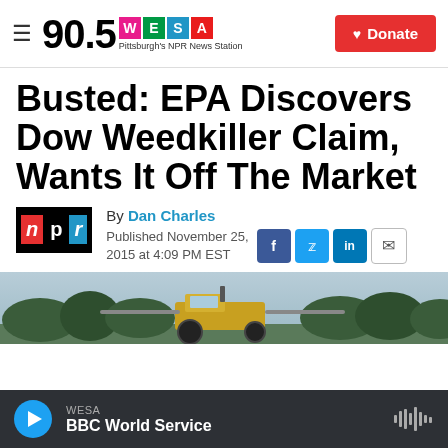90.5 WESA — Pittsburgh's NPR News Station | Donate
Busted: EPA Discovers Dow Weedkiller Claim, Wants It Off The Market
By Dan Charles
Published November 25, 2015 at 4:09 PM EST
[Figure (photo): Tractor/agricultural sprayer in a field with treeline in background]
WESA — BBC World Service